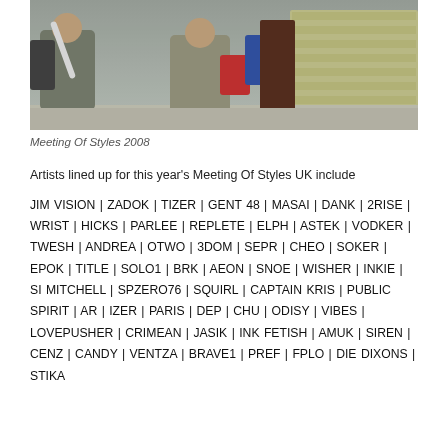[Figure (photo): Photograph showing people outdoors at a graffiti/street art event, Meeting Of Styles 2008]
Meeting Of Styles 2008
Artists lined up for this year's Meeting Of Styles UK include
JIM VISION | ZADOK | TIZER | GENT 48 | MASAI | DANK | 2RISE | WRIST | HICKS | PARLEE | REPLETE | ELPH | ASTEK | VODKER | TWESH | ANDREA | OTWO | 3DOM | SEPR | CHEO | SOKER | EPOK | TITLE | SOLO1 | BRK | AEON | SNOE | WISHER | INKIE | SI MITCHELL | SPZERO76 | SQUIRL | CAPTAIN KRIS | PUBLIC SPIRIT | AR | IZER | PARIS | DEP | CHU | ODISY | VIBES | LOVEPUSHER | CRIMEAN | JASIK | INK FETISH | AMUK | SIREN | CENZ | CANDY | VENTZA | BRAVE1 | PREF | FPLO | DIE DIXONS | STIKA